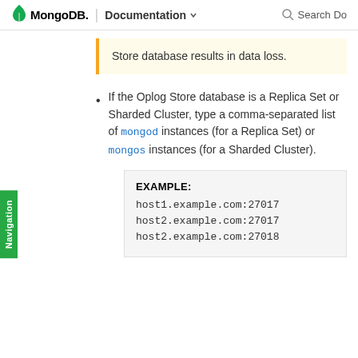MongoDB. | Documentation  Search Do
Store database results in data loss.
If the Oplog Store database is a Replica Set or Sharded Cluster, type a comma-separated list of mongod instances (for a Replica Set) or mongos instances (for a Sharded Cluster).
EXAMPLE:
host1.example.com:27017
host2.example.com:27017
host2.example.com:27018